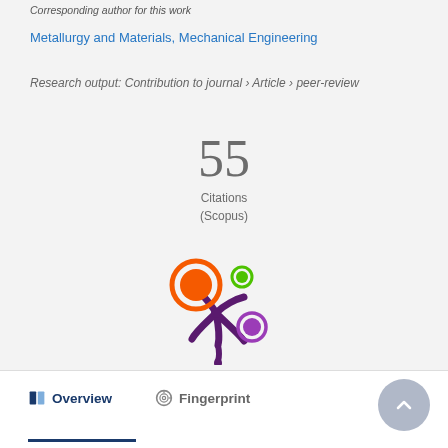Corresponding author for this work
Metallurgy and Materials, Mechanical Engineering
Research output: Contribution to journal › Article › peer-review
55
Citations
(Scopus)
[Figure (logo): Altmetric donut/splash logo with orange, green, and purple circles connected by dark purple splat shape]
Overview
Fingerprint